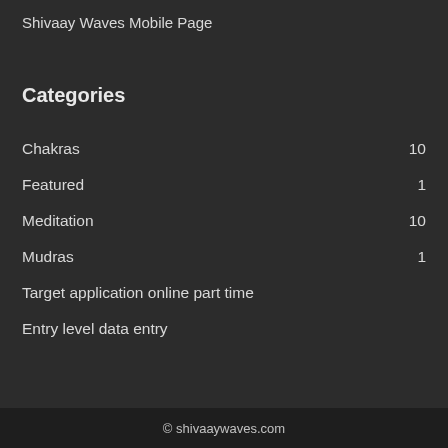Shivaay Waves Mobile Page
Categories
Chakras 10
Featured 1
Meditation 10
Mudras 1
Target application online part time
Entry level data entry
© shivaaywaves.com